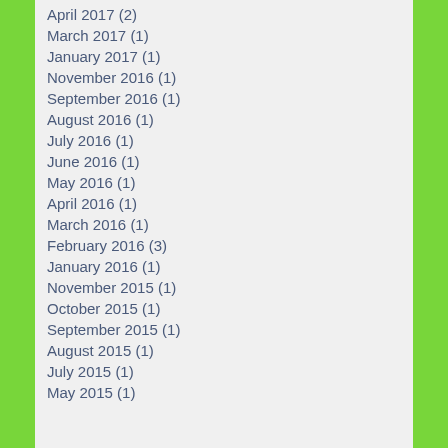April 2017 (2)
March 2017 (1)
January 2017 (1)
November 2016 (1)
September 2016 (1)
August 2016 (1)
July 2016 (1)
June 2016 (1)
May 2016 (1)
April 2016 (1)
March 2016 (1)
February 2016 (3)
January 2016 (1)
November 2015 (1)
October 2015 (1)
September 2015 (1)
August 2015 (1)
July 2015 (1)
May 2015 (1)